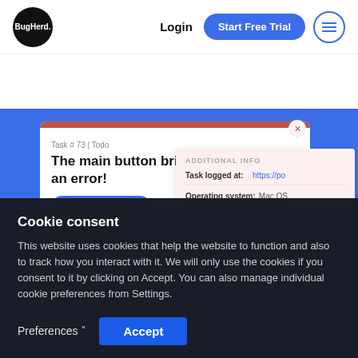[Figure (screenshot): BugHerd website navigation bar with logo, Login link, Start Free Trial button, and hamburger menu icon]
[Figure (screenshot): BugHerd app screenshot showing a bug report panel: Task #73 Todo - 'The main button brings up an error!' with Mark as doing button, Additional Info panel showing Task logged at (https://po...), Operating system (Mac OS), Browser (Chrome 64), Selector (html > bo...)]
[Figure (screenshot): Cookie consent banner: Title 'Cookie consent', text about website using cookies, Preferences and Accept buttons]